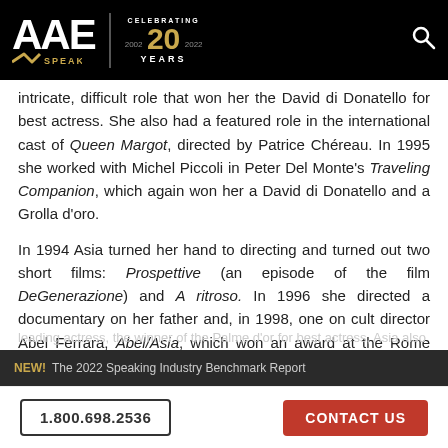AAE SPEAKERS — Celebrating 20 Years
intricate, difficult role that won her the David di Donatello for best actress. She also had a featured role in the international cast of Queen Margot, directed by Patrice Chéreau. In 1995 she worked with Michel Piccoli in Peter Del Monte's Traveling Companion, which again won her a David di Donatello and a Grolla d'oro.
In 1994 Asia turned her hand to directing and turned out two short films: Prospettive (an episode of the film DeGenerazione) and A ritroso. In 1996 she directed a documentary on her father and, in 1998, one on cult director Abel Ferrara, Abel/Asia, which won an award at the Rome Film Festival. In 1998 Asia also had a featured...
NEW! The 2022 Speaking Industry Benchmark Report
1.800.698.2536   CONTACT US